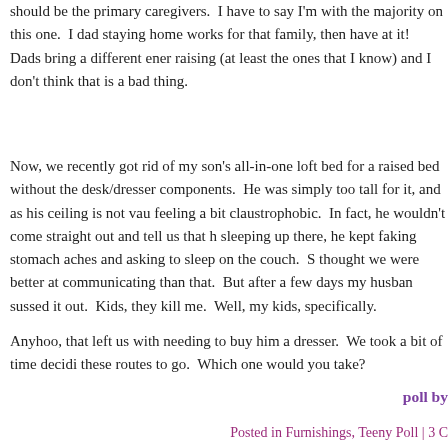should be the primary caregivers.  I have to say I'm with the majority on this one.  I dad staying home works for that family, then have at it!  Dads bring a different ener raising (at least the ones that I know) and I don't think that is a bad thing.
Now, we recently got rid of my son's all-in-one loft bed for a raised bed without the desk/dresser components.  He was simply too tall for it, and as his ceiling is not vau feeling a bit claustrophobic.  In fact, he wouldn't come straight out and tell us that h sleeping up there, he kept faking stomach aches and asking to sleep on the couch.  S thought we were better at communicating than that.  But after a few days my husban sussed it out.  Kids, they kill me.  Well, my kids, specifically.
Anyhoo, that left us with needing to buy him a dresser.  We took a bit of time decidi these routes to go.  Which one would you take?
poll by
Posted in Furnishings, Teeny Poll | 3 C
« Previous Entries